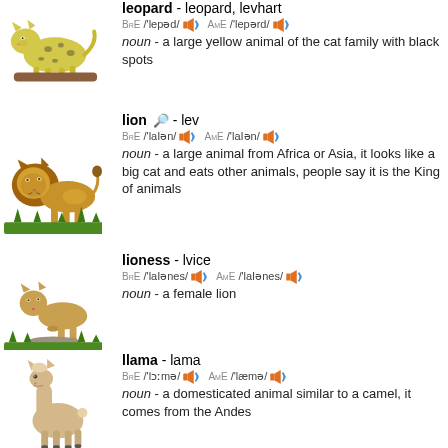leopard - leopard; levhart
BrE /'lepəd/ AmE /'lepərd/
noun - a large yellow animal of the cat family with black spots
lion - lev
BrE /'laIən/ AmE /'laIən/
noun - a large animal from Africa or Asia, it looks like a big cat and eats other animals, people say it is the King of animals
lioness - lvice
BrE /'laIənes/ AmE /'laIənes/
noun - a female lion
llama - lama
BrE /'lɔːmə/ AmE /'læmə/
noun - a domesticated animal similar to a camel, it comes from the Andes